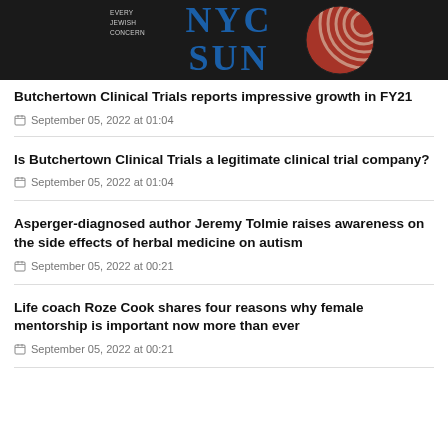[Figure (logo): NYC Sun newspaper logo with blue text 'NYC SUN' and red circular graphic on dark background]
Butchertown Clinical Trials reports impressive growth in FY21
September 05, 2022 at 01:04
Is Butchertown Clinical Trials a legitimate clinical trial company?
September 05, 2022 at 01:04
Asperger-diagnosed author Jeremy Tolmie raises awareness on the side effects of herbal medicine on autism
September 05, 2022 at 00:21
Life coach Roze Cook shares four reasons why female mentorship is important now more than ever
September 05, 2022 at 00:21